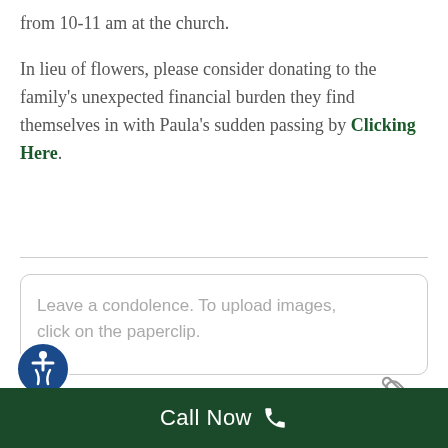from 10-11 am at the church.

In lieu of flowers, please consider donating to the family's unexpected financial burden they find themselves in with Paula's sudden passing by Clicking Here.
Leave a condolence. To upload images, click on the paperclip.
Call Now